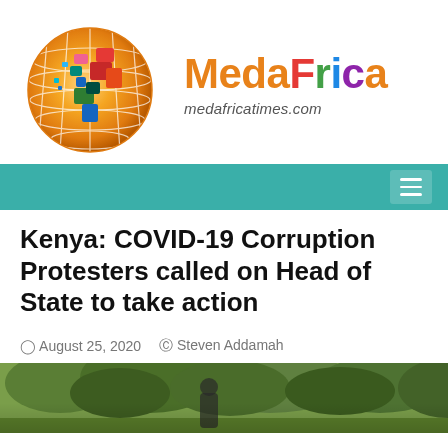[Figure (logo): MedaFrica logo: colorful globe with African continent highlighted in multicolor, beside the text 'MedaFrica' in orange/red/green/blue/purple and 'medafricatimes.com' below]
≡
Kenya: COVID-19 Corruption Protesters called on Head of State to take action
August 25, 2020   Steven Addamah
[Figure (photo): Outdoor photo showing trees and a person, partially visible at the bottom of the page]